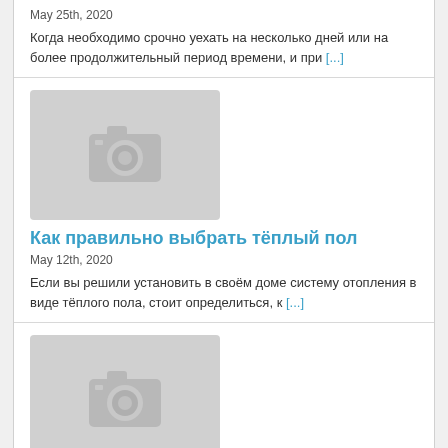May 25th, 2020
Когда необходимо срочно уехать на несколько дней или на более продолжительный период времени, и при [...]
[Figure (photo): Placeholder camera icon image]
Как правильно выбрать тёплый пол
May 12th, 2020
Если вы решили установить в своём доме систему отопления в виде тёплого пола, стоит определиться, к [...]
[Figure (photo): Placeholder camera icon image]
Снижение затрат при использовании электрических